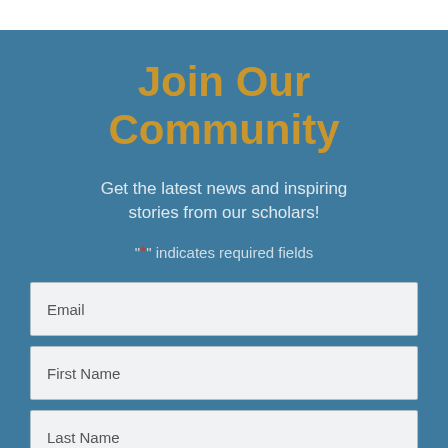Join Our Community
Get the latest news and inspiring stories from our scholars!
"*" indicates required fields
Email
First Name
Last Name